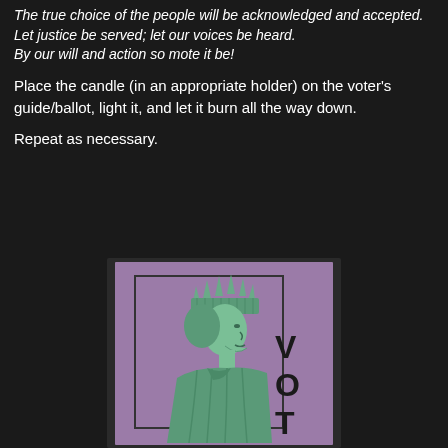The true choice of the people will be acknowledged and accepted.
Let justice be served; let our voices be heard.
By our will and action so mote it be!
Place the candle (in an appropriate holder) on the voter’s guide/ballot, light it, and let it burn all the way down.
Repeat as necessary.
[Figure (illustration): Illustration of the Statue of Liberty in profile view facing right, rendered in green tones on a purple/mauve background. The word 'VOT' is visible in large black letters to the right of the figure, partially cut off. A rectangular border frames the inner portion of the image.]